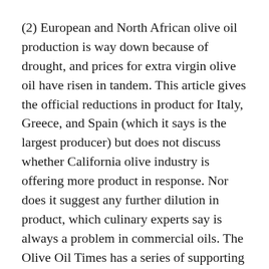(2) European and North African olive oil production is way down because of drought, and prices for extra virgin olive oil have risen in tandem. This article gives the official reductions in product for Italy, Greece, and Spain (which it says is the largest producer) but does not discuss whether California olive industry is offering more product in response. Nor does it suggest any further dilution in product, which culinary experts say is always a problem in commercial oils. The Olive Oil Times has a series of supporting articles here.
(3) Coca Cola is trying to raise the desirability of its brand by emphasizing its “inclusivity”—with reference to its historic claim that everyone, however defined by ethnicity or economic class—can afford to enjoy Coke (citing Andy Warhol’s iconic image and phrase) and its efforts to improve its nutritional profile. The company